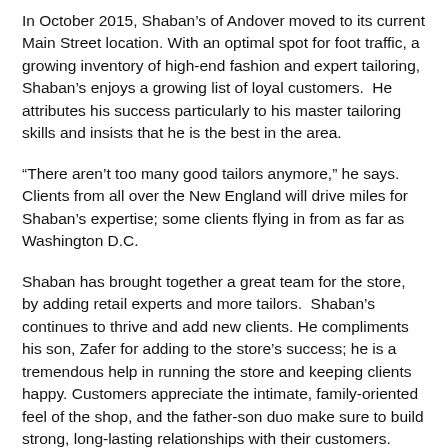In October 2015, Shaban's of Andover moved to its current Main Street location. With an optimal spot for foot traffic, a growing inventory of high-end fashion and expert tailoring, Shaban's enjoys a growing list of loyal customers.  He attributes his success particularly to his master tailoring skills and insists that he is the best in the area.
“There aren’t too many good tailors anymore,” he says. Clients from all over the New England will drive miles for Shaban’s expertise; some clients flying in from as far as Washington D.C.
Shaban has brought together a great team for the store, by adding retail experts and more tailors.  Shaban’s continues to thrive and add new clients. He compliments his son, Zafer for adding to the store’s success; he is a tremendous help in running the store and keeping clients happy. Customers appreciate the intimate, family-oriented feel of the shop, and the father-son duo make sure to build strong, long-lasting relationships with their customers.